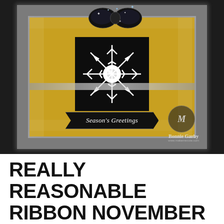[Figure (photo): A decorative handmade holiday card featuring a large white snowflake die-cut on a black square center, surrounded by gold and black patterned paper with white snowflake designs. A black sequin bow sits at the top. A white fluffy feather boa-style border frames the card. A banner reads 'Season's Greetings'. Watermark reads 'Bonnie Garby' and 'www.makemecute.com'.]
REALLY REASONABLE RIBBON NOVEMBER BLOG HOP